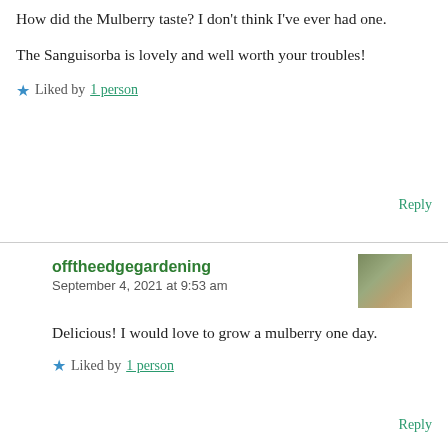How did the Mulberry taste? I don't think I've ever had one.
The Sanguisorba is lovely and well worth your troubles!
★ Liked by 1 person
Reply
offtheedgegardening
September 4, 2021 at 9:53 am
Delicious! I would love to grow a mulberry one day.
★ Liked by 1 person
Reply